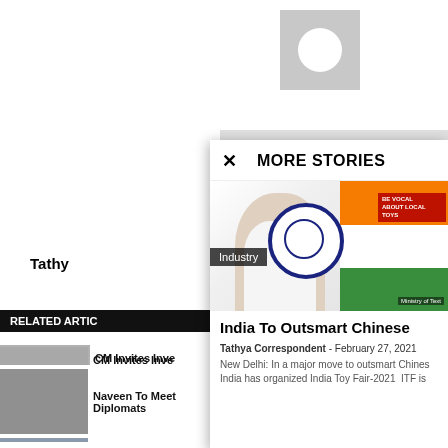[Figure (screenshot): Background webpage showing related articles sidebar with thumbnails and titles]
Tathy
RELATED ARTIC
CM Invites Inve
Oriclean Foray
Window Clears
Naveen To Meet Diplomats
[Figure (screenshot): Modal popup showing MORE STORIES panel with article: India To Outsmart Chinese... with photo of PM Modi at India Toy Fair-2021]
MORE STORIES
Industry
India To Outsmart Chinese
Tathya Correspondent - February 27, 2021
New Delhi: In a major move to outsmart Chines India has organized India Toy Fair-2021  ITF is